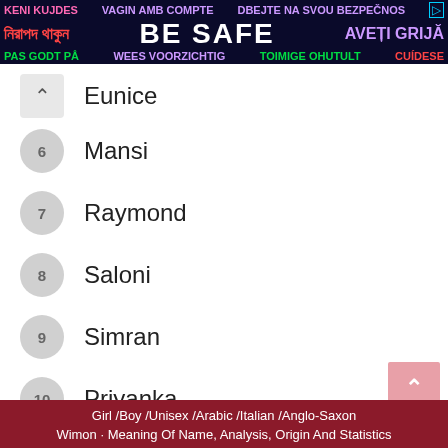[Figure (screenshot): Multilingual safety banner advertisement with text: KENI KUJDES, VAGIN AMB COMPTE, DBEJTE NA SVOU BEZPEČNOS, Bengali text (নিরাপদ থাকুন), BE SAFE, AVEȚI GRIJĂ, PAS GODT PÅ, WEES VOORZICHTIG, TOIMIGE OHUTULT, CUÍDESE]
Eunice
6 Mansi
7 Raymond
8 Saloni
9 Simran
10 Priyanka
11 Benita
Girl /Boy /Unisex /Arabic /Italian /Anglo-Saxon
Wimon · Meaning Of Name, Analysis, Origin And Statistics